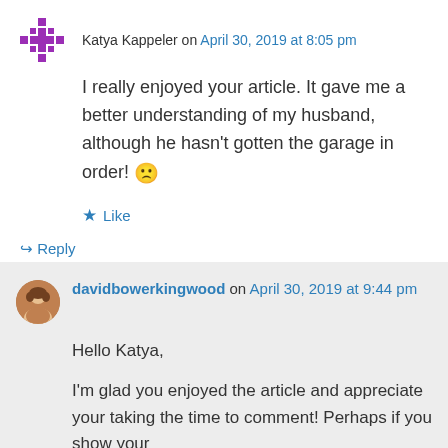Katya Kappeler on April 30, 2019 at 8:05 pm
I really enjoyed your article. It gave me a better understanding of my husband, although he hasn’t gotten the garage in order! 😐
★ Like
↳ Reply
davidbowerkingwood on April 30, 2019 at 9:44 pm
Hello Katya,
I’m glad you enjoyed the article and appreciate your taking the time to comment! Perhaps if you show your